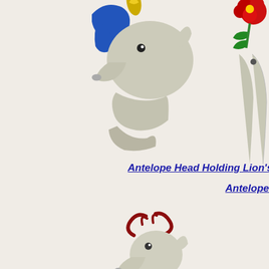[Figure (illustration): Heraldic antelope head holding a lion's tail, grey animal with blue ribbon/collar, golden plume on top, facing right]
Antelope Head Holding Lion's Tail
[Figure (illustration): Partial heraldic figure on right side, partially cropped, with red flower/rose at top]
Antelope
[Figure (illustration): Antelope of the Sea heraldic figure, grey antelope upper body with dark red/maroon fish tail, dark red antlers and fins, rearing position]
Antelope of the Sea
[Figure (illustration): Small partial heraldic figure on right side, partially cropped]
Ante
[Figure (illustration): Antelope head, partially visible at bottom of page, grey with dark red antlers, facing right, with gold collar/chain]